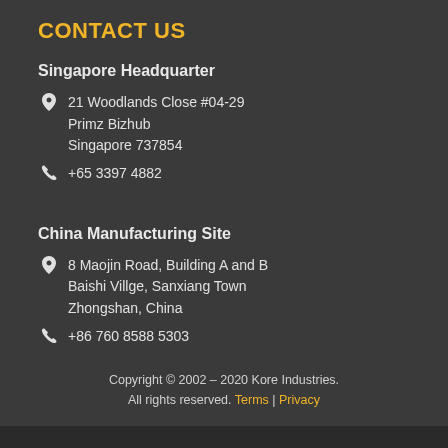CONTACT US
Singapore Headquarter
21 Woodlands Close #04-29
Primz Bizhub
Singapore 737854
+65 3397 4882
China Manufacturing Site
8 Maojin Road, Building A and B
Baishi Villge, Sanxiang Town
Zhongshan, China
+86 760 8588 5303
Copyright © 2002 – 2020 Kore Industries. All rights reserved. Terms | Privacy